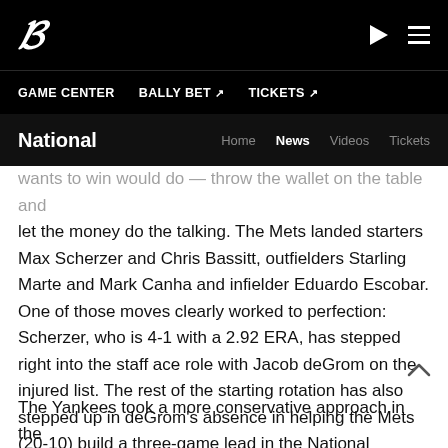B (logo) | play | menu
GAME CENTER  BALLY BET ↗  TICKETS ↗
National  Home  News  Videos  Tickets
wants to win would do — throw the wallet on the table and let the money do the talking. The Mets landed starters Max Scherzer and Chris Bassitt, outfielders Starling Marte and Mark Canha and infielder Eduardo Escobar. One of those moves clearly worked to perfection: Scherzer, who is 4-1 with a 2.92 ERA, has stepped right into the staff ace role with Jacob deGrom on the injured list. The rest of the starting rotation has also stepped up in deGrom's absence in helping the Mets (20-10) build a three-game lead in the National League East.
The Yankees took a more conservative approach in the